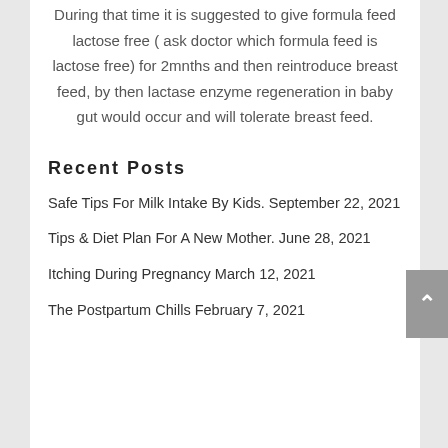During that time it is suggested to give formula feed lactose free ( ask doctor which formula feed is lactose free) for 2mnths and then reintroduce breast feed, by then lactase enzyme regeneration in baby gut would occur and will tolerate breast feed.
Recent Posts
Safe Tips For Milk Intake By Kids. September 22, 2021
Tips & Diet Plan For A New Mother. June 28, 2021
Itching During Pregnancy March 12, 2021
The Postpartum Chills February 7, 2021